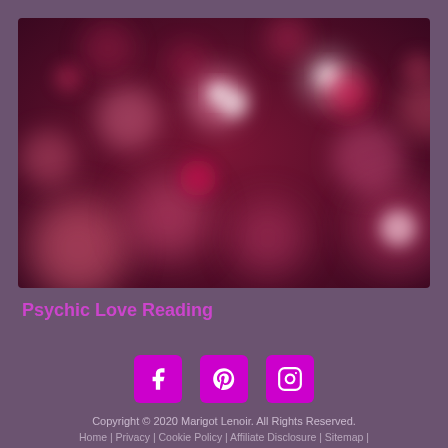[Figure (photo): Blurred bokeh lights in deep red and pink/magenta tones against a dark burgundy/maroon background]
Psychic Love Reading
[Figure (infographic): Three social media icons: Facebook, Pinterest, Instagram — each on a magenta square button]
Copyright © 2020 Marigot Lenoir. All Rights Reserved.
Home | Privacy | Cookie Policy | Affiliate Disclosure | Sitemap | Contact Us